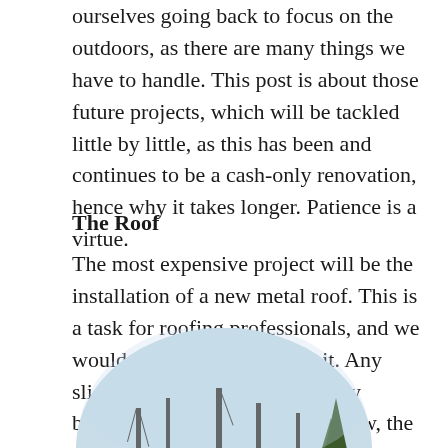ourselves going back to focus on the outdoors, as there are many things we have to handle. This post is about those future projects, which will be tackled little by little, as this has been and continues to be a cash-only renovation, hence why it takes longer. Patience is a virtue.
The Roof
The most expensive project will be the installation of a new metal roof. This is a task for roofing professionals, and we wouldn't take a chance with it. Any slight mistakes would eventually become expensive issues. For now, the roof is coated and will last a few years.
[Figure (photo): Circular/oval cropped outdoor photo showing bare winter trees against a light blue sky, viewed from below, partial view at bottom of page]